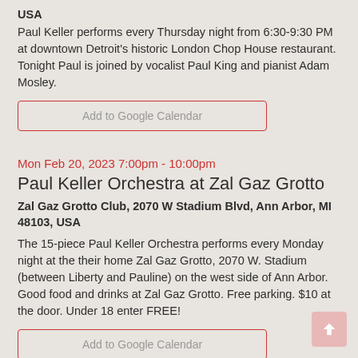USA
Paul Keller performs every Thursday night from 6:30-9:30 PM at downtown Detroit's historic London Chop House restaurant. Tonight Paul is joined by vocalist Paul King and pianist Adam Mosley.
Add to Google Calendar
Mon Feb 20, 2023 7:00pm - 10:00pm
Paul Keller Orchestra at Zal Gaz Grotto
Zal Gaz Grotto Club, 2070 W Stadium Blvd, Ann Arbor, MI 48103, USA
The 15-piece Paul Keller Orchestra performs every Monday night at the their home Zal Gaz Grotto, 2070 W. Stadium (between Liberty and Pauline) on the west side of Ann Arbor. Good food and drinks at Zal Gaz Grotto. Free parking. $10 at the door. Under 18 enter FREE!
Add to Google Calendar
Tue Feb 21, 2023 5:30pm - 8:00pm